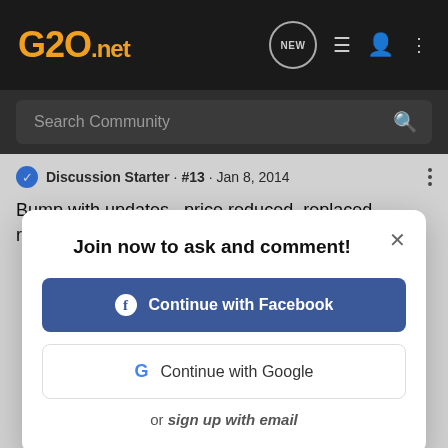G20.net — Navigation bar with logo and icons
Search Community
Discussion Starter · #13 · Jan 8, 2014
Bump with updates...price reduced, replaced radiator, heater co
[Figure (screenshot): Modal dialog: Join now to ask and comment! with Continue with Facebook button, Continue with Google button, and 'or sign up with email' link]
Joined Feb 4, 2004 · 91 Posts
Innovate at the speed of business with content services from Hyland
Learn more »
Discu